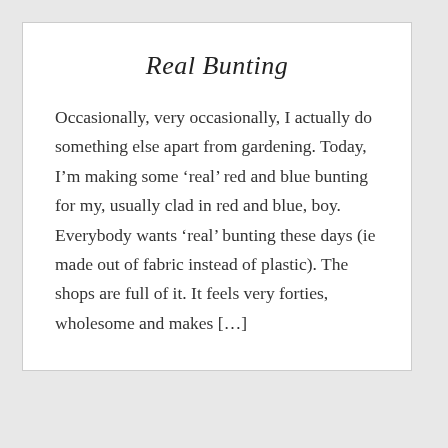Real Bunting
Occasionally, very occasionally, I actually do something else apart from gardening. Today, I'm making some ‘real’ red and blue bunting for my, usually clad in red and blue, boy.  Everybody wants ‘real’ bunting these days (ie made out of fabric instead of plastic). The shops are full of it. It feels very forties, wholesome and makes […]